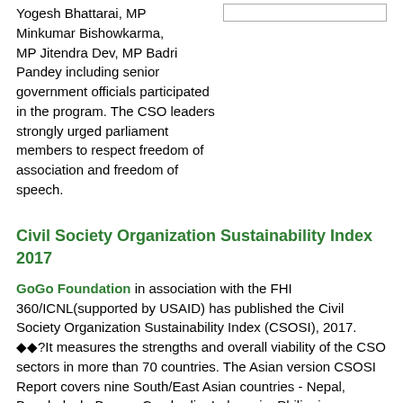Yogesh Bhattarai, MP Minkumar Bishowkarma, MP Jitendra Dev, MP Badri Pandey including senior government officials participated in the program. The CSO leaders strongly urged parliament members to respect freedom of association and freedom of speech.
Civil Society Organization Sustainability Index 2017
GoGo Foundation in association with the FHI 360/ICNL(supported by USAID) has published the Civil Society Organization Sustainability Index (CSOSI), 2017. ◆◆?It measures the strengths and overall viability of the CSO sectors in more than 70 countries. The Asian version CSOSI Report covers nine South/East Asian countries - Nepal, Bangladesh, Burma, Cambodia, Indonesia, Philippines, Pakistan, Sri-Lanka and Thailand. See Press Release and full version of CSOSI 2017.
Earlier, this report was jointly unveiled by Speaker of Legislative Assembly Gandki Province Honb'le Netranath Adhikari, MP Prabha Krish...& NGO...